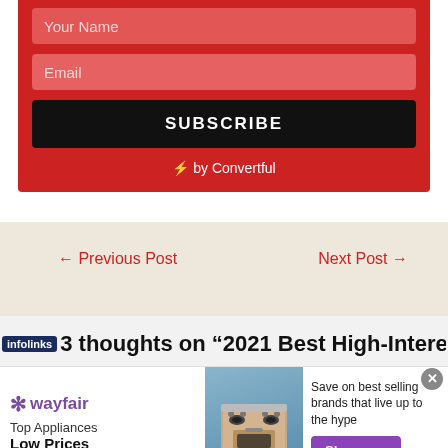Your Name (input field)
Email (input field)
SUBSCRIBE (button)
⚡ by Convertful
← Previous Post
Next Post →
3 thoughts on "2021 Best High-Interest
[Figure (infographic): Wayfair advertisement banner: Top Appliances Low Prices, Save on best selling brands that live up to the hype, Shop now button]